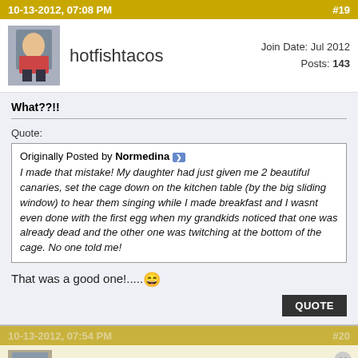10-13-2012, 07:08 PM    #19
hotfishtacos   Join Date: Jul 2012   Posts: 143
What??!!
Quote:
Originally Posted by Normedina
I made that mistake! My daughter had just given me 2 beautiful canaries, set the cage down on the kitchen table (by the big sliding window) to hear them singing while I made breakfast and I wasnt even done with the first egg when my grandkids noticed that one was already dead and the other one was twitching at the bottom of the cage. No one told me!
That was a good one!.....😄
QUOTE
10-13-2012, 07:54 PM    #20
Carol H   Join Date: Mar 2007   Posts: 11,756